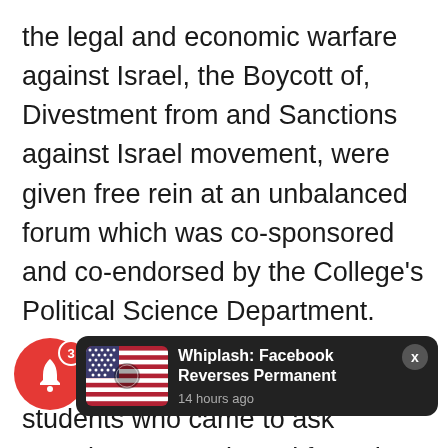the legal and economic warfare against Israel, the Boycott of, Divestment from and Sanctions against Israel movement, were given free rein at an unbalanced forum which was co-sponsored and co-endorsed by the College's Political Science Department.
Four pro-Israel Brooklyn College students who came to ask questions were ejected from the event on the say-so of the SJP event organizer, someone who was not even a student and had no affiliation at all with Brooklyn College. The leader claimed the fo[rum was dis]pectful, a[nd the] security personnel did his bidding despite being in
[Figure (screenshot): Notification toast overlay showing a US flag image thumbnail and text 'Whiplash: Facebook Reverses Permanent' with timestamp '14 hours ago'. A red bell icon with badge count 3 is visible in the bottom left.]